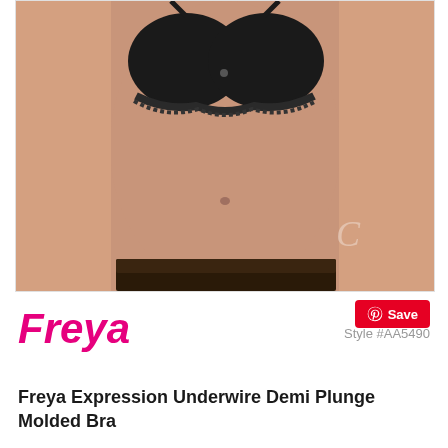[Figure (photo): Product photo of a woman wearing a black Freya Expression Underwire Demi Plunge Molded Bra with lace trim detail, shown against a white/light grey background. The image is cropped to show torso only.]
Save
Style #AA5490
Freya
Freya Expression Underwire Demi Plunge Molded Bra